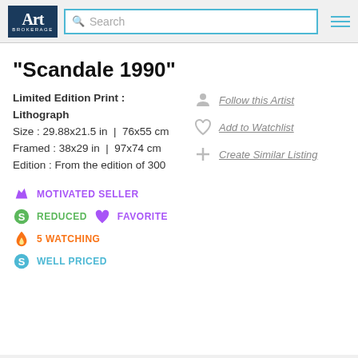Art Brokerage — Search
"Scandale 1990"
Limited Edition Print : Lithograph
Size : 29.88x21.5 in | 76x55 cm
Framed : 38x29 in | 97x74 cm
Edition : From the edition of 300
Follow this Artist
Add to Watchlist
Create Similar Listing
MOTIVATED SELLER
REDUCED   FAVORITE
5 WATCHING
WELL PRICED